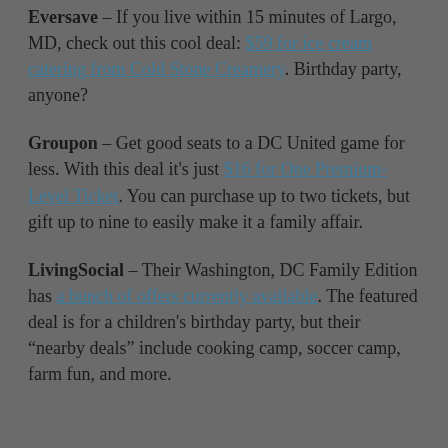Eversave – If you live within 15 minutes of Largo, MD, check out this cool deal: $59 for ice cream catering from Cold Stone Creamery. Birthday party, anyone?
Groupon – Get good seats to a DC United game for less. With this deal it's just $16 for One Premium-Level Ticket. You can purchase up to two tickets, but gift up to nine to easily make it a family affair.
LivingSocial – Their Washington, DC Family Edition has a bunch of offers currently available. The featured deal is for a children's birthday party, but their "nearby deals" include cooking camp, soccer camp, farm fun, and more.